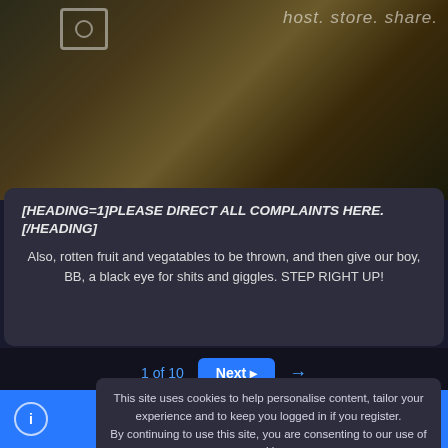[Figure (photo): Dark moody photograph showing shadowy landscape or painting with 'host. store. share.' text overlay in top right, and a photo/camera icon in top left area]
[HEADING=1]PLEASE DIRECT ALL COMPLAINTS HERE.[/HEADING]
Also, rotten fruit and vegatables to be thrown, and then give our boy, BB, a black eye for shits and giggles. STEP RIGHT UP!
1 of 10
Next ▶
This site uses cookies to help personalise content, tailor your experience and to keep you logged in if you register.
By continuing to use this site, you are consenting to our use of cookies.
Accept
Learn more...